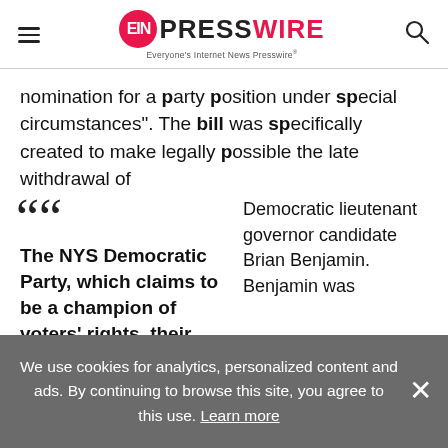EIN PRESSWIRE - Everyone's Internet News Presswire
nomination for a party position under special circumstances". The bill was specifically created to make legally possible the late withdrawal of
Democratic lieutenant governor candidate Brian Benjamin. Benjamin was
““ The NYS Democratic Party, which claims to be a champion of voters' rights, their Chair, Jay Jacobs, and
We use cookies for analytics, personalized content and ads. By continuing to browse this site, you agree to this use. Learn more